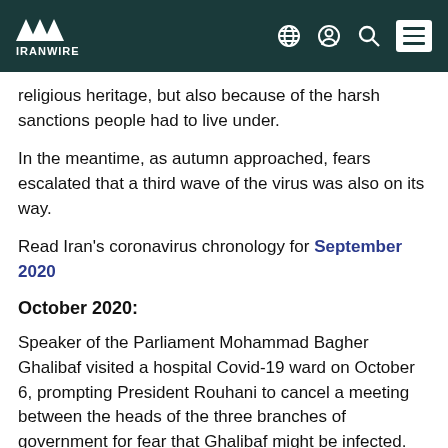IRANWIRE
religious heritage, but also because of the harsh sanctions people had to live under.
In the meantime, as autumn approached, fears escalated that a third wave of the virus was also on its way.
Read Iran's coronavirus chronology for September 2020
October 2020:
Speaker of the Parliament Mohammad Bagher Ghalibaf visited a hospital Covid-19 ward on October 6, prompting President Rouhani to cancel a meeting between the heads of the three branches of government for fear that Ghalibaf might be infected.